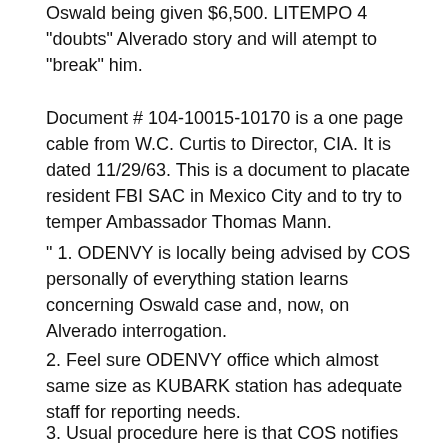Oswald being given $6,500. LITEMPO 4 "doubts" Alverado story and will atempt to "break" him.
Document # 104-10015-10170 is a one page cable from W.C. Curtis to Director, CIA. It is dated 11/29/63. This is a document to placate resident FBI SAC in Mexico City and to try to temper Ambassador Thomas Mann.
" 1. ODENVY is locally being advised by COS personally of everything station learns concerning Oswald case and, now, on Alverado interrogation.
2. Feel sure ODENVY office which almost same size as KUBARK station has adequate staff for reporting needs.
3. Usual procedure here is that COS notifies hqs, reports to Chief ODENVY and to Ambassador orally then